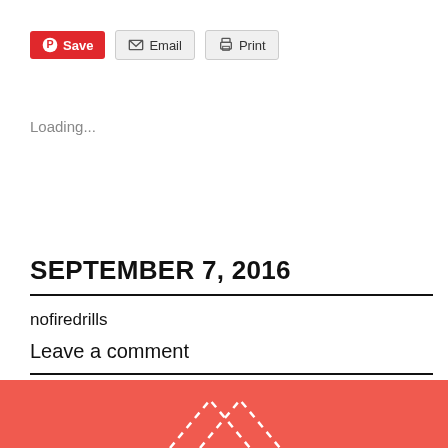[Figure (screenshot): Toolbar with Save (Pinterest), Email, and Print buttons]
Loading...
SEPTEMBER 7, 2016
nofiredrills
Leave a comment
[Figure (illustration): Red/coral banner at the bottom with white dotted chevron/arrow shapes]